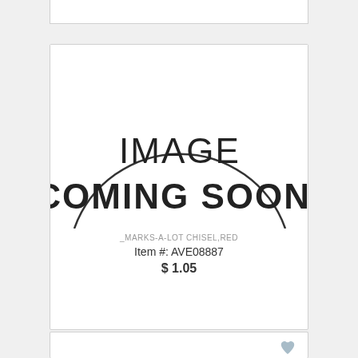[Figure (other): Partial product card at top, cut off]
[Figure (illustration): Image Coming Soon placeholder graphic with semicircle outline]
_MARKS-A-LOT CHISEL,RED
Item #: AVE08887
$ 1.05
[Figure (other): Partial product card at bottom, cut off]